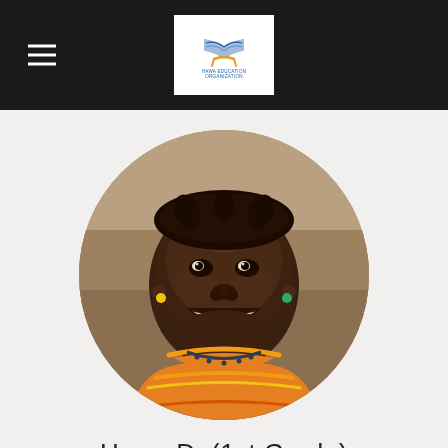Hawa D. (1st Grade) — organization logo and navigation header
[Figure (photo): Circular cropped portrait photo of a young girl smiling broadly, wearing a colorful orange and yellow striped traditional dress with a ruffled collar and small beaded necklace, with decorative hair accessories. Background is an outdoor sandy/earthen setting.]
Hawa D. (1st Grade)